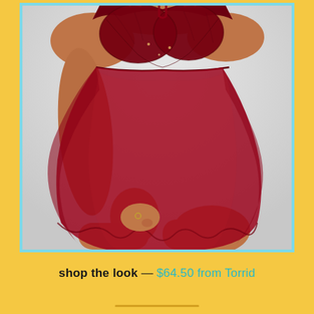[Figure (photo): A plus-size model wearing a dark red/burgundy lace babydoll chemise lingerie with sheer chiffon skirt. The model is photographed from mid-torso down to thighs against a light gray background. The image has a light blue border.]
shop the look — $64.50 from Torrid